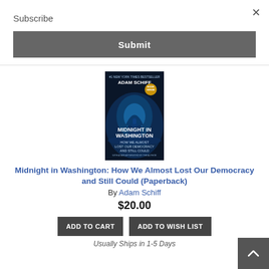Subscribe
×
Submit
[Figure (photo): Book cover of 'Midnight in Washington: How We Almost Lost Our Democracy and Still Could' by Adam Schiff. Dark cover with blue glowing Capitol building.]
Midnight in Washington: How We Almost Lost Our Democracy and Still Could (Paperback)
By Adam Schiff
$20.00
ADD TO CART
ADD TO WISH LIST
Usually Ships in 1-5 Days